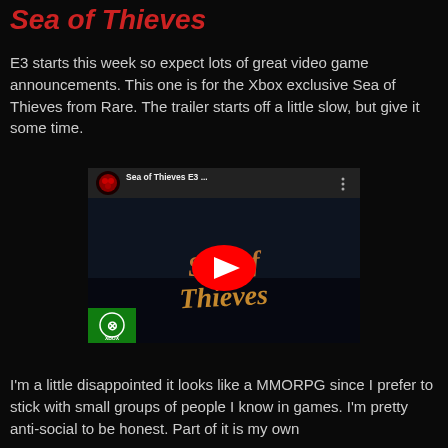Sea of Thieves
E3 starts this week so expect lots of great video game announcements.  This one is for the Xbox exclusive Sea of Thieves from Rare.  The trailer starts off a little slow, but give it some time.
[Figure (screenshot): YouTube video embed thumbnail for 'Sea of Thieves E3 ...' showing the Sea of Thieves game logo text in a stylized golden-brown font on a dark background, with a red YouTube play button in the center. An Xbox channel icon (green with Xbox logo) is visible in the bottom-left corner. A small red-and-black circular icon appears in the top-left of the video header area along with the video title and a three-dot menu icon.]
I'm a little disappointed it looks like a MMORPG since I prefer to stick with small groups of people I know in games.  I'm pretty anti-social to be honest.  Part of it is my own